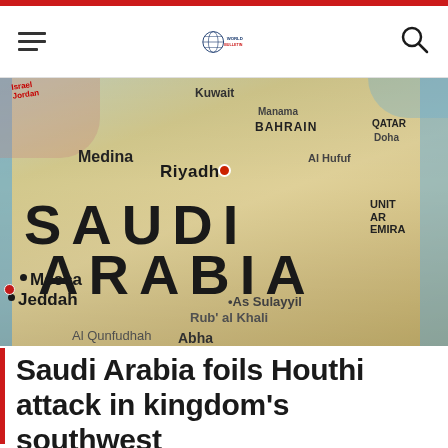World Bulletin — navigation header with hamburger menu and search icon
[Figure (map): A close-up photo of a physical map of Saudi Arabia and surrounding region, showing city labels: Riyadh, Medina, Mecca, Jeddah, As Sulayyil, Al Qunfudhah, Abha; country labels: SAUDI ARABIA, BAHRAIN, QATAR, UNITED ARAB EMIRATES; with Rub' al Khali desert text visible.]
Saudi Arabia foils Houthi attack in kingdom's southwest